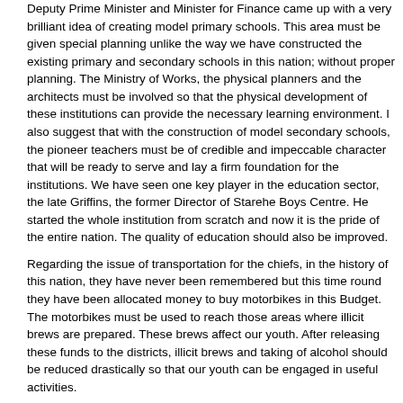Deputy Prime Minister and Minister for Finance came up with a very brilliant idea of creating model primary schools. This area must be given special planning unlike the way we have constructed the existing primary and secondary schools in this nation; without proper planning. The Ministry of Works, the physical planners and the architects must be involved so that the physical development of these institutions can provide the necessary learning environment. I also suggest that with the construction of model secondary schools, the pioneer teachers must be of credible and impeccable character that will be ready to serve and lay a firm foundation for the institutions. We have seen one key player in the education sector, the late Griffins, the former Director of Starehe Boys Centre. He started the whole institution from scratch and now it is the pride of the entire nation. The quality of education should also be improved.
Regarding the issue of transportation for the chiefs, in the history of this nation, they have never been remembered but this time round they have been allocated money to buy motorbikes in this Budget. The motorbikes must be used to reach those areas where illicit brews are prepared. These brews affect our youth. After releasing these funds to the districts, illicit brews and taking of alcohol should be reduced drastically so that our youth can be engaged in useful activities.